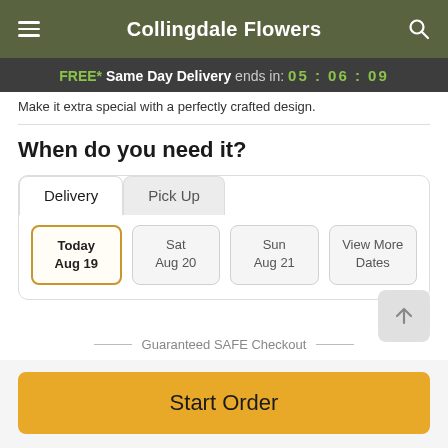Collingdale Flowers
FREE* Same Day Delivery ends in: 05 : 06 : 09
Make it extra special with a perfectly crafted design.
When do you need it?
Delivery | Pick Up
Today Aug 19 | Sat Aug 20 | Sun Aug 21 | View More Dates
Guaranteed SAFE Checkout
Start Order